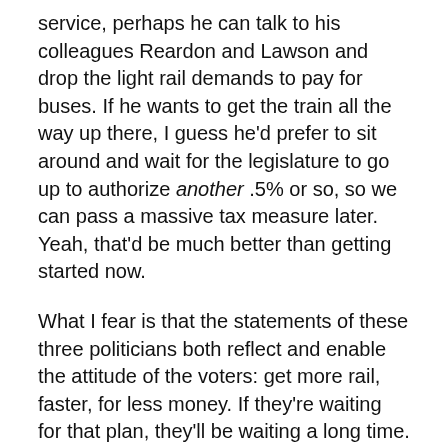service, perhaps he can talk to his colleagues Reardon and Lawson and drop the light rail demands to pay for buses. If he wants to get the train all the way up there, I guess he'd prefer to sit around and wait for the legislature to go up to authorize another .5% or so, so we can pass a massive tax measure later. Yeah, that'd be much better than getting started now.
What I fear is that the statements of these three politicians both reflect and enable the attitude of the voters: get more rail, faster, for less money. If they're waiting for that plan, they'll be waiting a long time. See you on the bus in 2025!
In retrospect, it was a mistake to include parts of Snohomish County in the Sound Transit district.